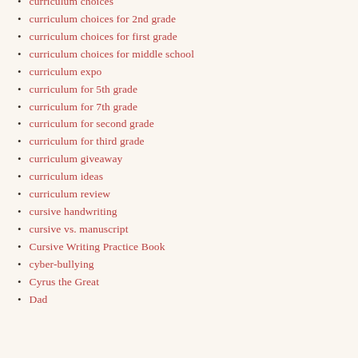curriculum choices
curriculum choices for 2nd grade
curriculum choices for first grade
curriculum choices for middle school
curriculum expo
curriculum for 5th grade
curriculum for 7th grade
curriculum for second grade
curriculum for third grade
curriculum giveaway
curriculum ideas
curriculum review
cursive handwriting
cursive vs. manuscript
Cursive Writing Practice Book
cyber-bullying
Cyrus the Great
Dad